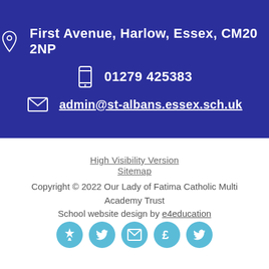First Avenue, Harlow, Essex, CM20 2NP
01279 425383
admin@st-albans.essex.sch.uk
High Visibility Version
Sitemap
Copyright © 2022 Our Lady of Fatima Catholic Multi Academy Trust
School website design by e4education
[Figure (infographic): Five teal circular social/contact icon buttons: a crest/coat of arms icon, a Twitter bird icon, an envelope/email icon, a pound/currency icon, and another Twitter bird icon.]